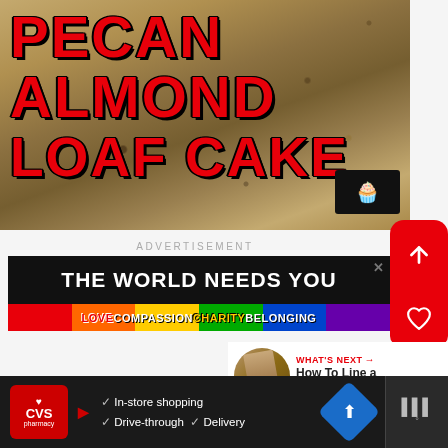[Figure (photo): Pecan almond loaf cake food photo with bold red text overlay on baked cake background. Text reads PECAN ALMOND LOAF CAKE. Small black logo in bottom right.]
ADVERTISEMENT
[Figure (other): Advertisement banner with dark background reading THE WORLD NEEDS YOU in white bold text, with rainbow stripe below showing LOVE COMPASSION CHARITY BELONGING in red and yellow bold text.]
[Figure (other): What's Next panel showing circular thumbnail of loaf pan with text: WHAT'S NEXT → How To Line a Loaf or Pou...]
[Figure (other): Bottom advertisement bar: CVS Pharmacy logo with In-store shopping, Drive-through, Delivery checkmarks, blue diamond navigation icon, and weather widget on dark background.]